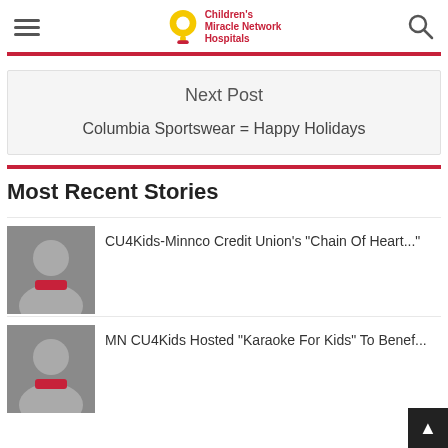Children's Miracle Network Hospitals
Next Post
Columbia Sportswear = Happy Holidays
Most Recent Stories
CU4Kids-Minnco Credit Union's "Chain Of Heart..."
MN CU4Kids Hosted "Karaoke For Kids" To Benef...